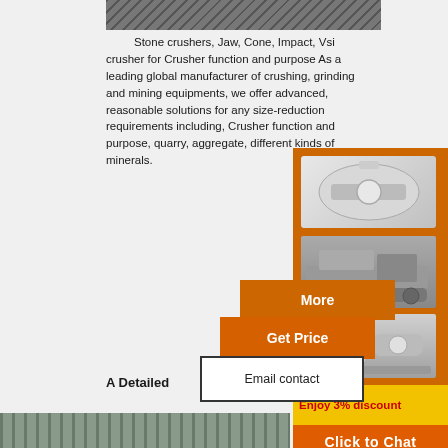[Figure (photo): Top portion of industrial stone crusher machinery, dark tones]
Stone crushers, Jaw, Cone, Impact, Vsi crusher for Crusher function and purpose As a leading global manufacturer of crushing, grinding and mining equipments, we offer advanced, reasonable solutions for any size-reduction requirements including, Crusher function and purpose, quarry, aggregate, different kinds of minerals.
[Figure (photo): Orange sidebar showing three types of mining/crushing machinery on orange background]
More
Get Price
Email contact
A Detailed
Enjoy 3% discount
Click to Chat
Enquiry
limingjlmofen@sina.com
[Figure (photo): Industrial factory interior showing cylindrical mills and steel framework, bottom of page]